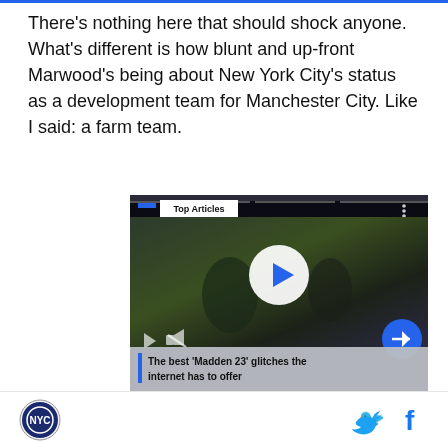There's nothing here that should shock anyone. What's different is how blunt and up-front Marwood's being about New York City's status as a development team for Manchester City. Like I said: a farm team.
[Figure (screenshot): Embedded video player showing a football scene with play button overlay, Top Articles label, mute and navigation controls, and caption 'The best ‘Madden 23’ glitches the internet has to offer']
Logo icon, Twitter icon, Facebook icon